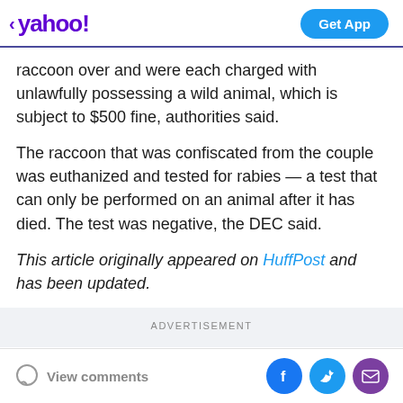< yahoo!  Get App
raccoon over and were each charged with unlawfully possessing a wild animal, which is subject to $500 fine, authorities said.
The raccoon that was confiscated from the couple was euthanized and tested for rabies — a test that can only be performed on an animal after it has died. The test was negative, the DEC said.
This article originally appeared on HuffPost and has been updated.
ADVERTISEMENT
View comments  [social icons: Facebook, Twitter, Email]